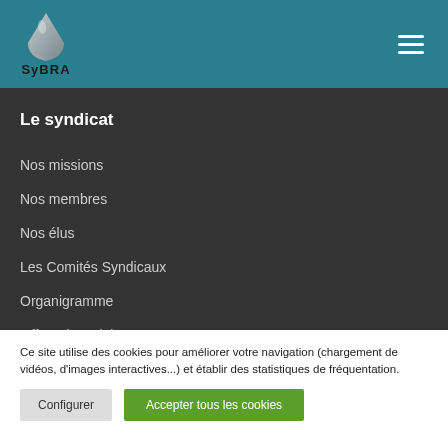[Figure (logo): SyBRA logo with stylized white/grey triangular peak shape above the text 'SyBRA']
Le syndicat
Nos missions
Nos membres
Nos élus
Les Comités Syndicaux
Organigramme
Offres d'emploi
Ce site utilise des cookies pour améliorer votre navigation (chargement de vidéos, d'images interactives...) et établir des statistiques de fréquentation.
Configurer | Accepter tous les cookies